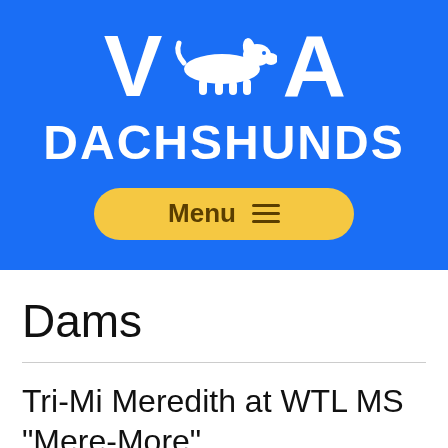[Figure (logo): VDA Dachshunds logo with white dachshund dog silhouette between large letters V and A, text DACHSHUNDS below, on blue background. Yellow rounded menu button below.]
Dams
Tri-Mi Meredith at WTL MS "Mere-More"